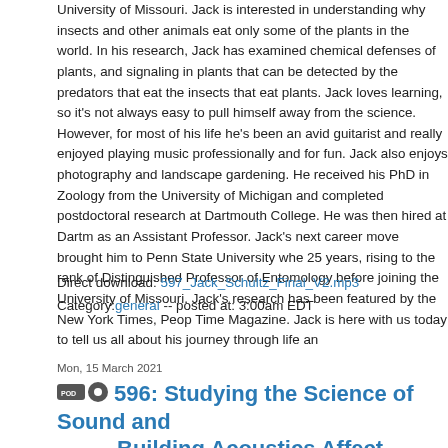University of Missouri. Jack is interested in understanding why insects and other animals eat only some of the plants in the world. In his research, Jack has examined chemical defenses of plants, and signaling in plants that can be detected by the predators that eat the insects that eat plants. Jack loves learning, so it's not always easy to pull himself away from the science. However, for most of his life he's been an avid guitarist and really enjoyed playing music professionally and for fun. Jack also enjoys photography and landscape gardening. He received his PhD in Zoology from the University of Michigan and completed postdoctoral research at Dartmouth College. He was then hired at Dartmouth as an Assistant Professor. Jack's next career move brought him to Penn State University where he worked for 25 years, rising to the rank of Distinguished Professor of Entomology before joining the faculty at the University of Missouri. Jack's research has been featured by the New York Times, People Magazine, and Time Magazine. Jack is here with us today to tell us all about his journey through life and science.
Direct download: 597_Jack_Schultz_Final_V2.mp3
Category:general -- posted at: 3:00am EDT
Mon, 15 March 2021
596: Studying the Science of Sound and How Building Acoustics Affect Performance - Lily Wang
Dr. Lily Wang is a Professor of Architectural Engineering in the Durham School of Architectural Engineering and Construction and the Associate Dean for Graduate Programs and Faculty Development in Engineering at the University of Nebraska, Lincoln. Lily's research is in the field of architectural acoustics, which helps us understand how sound behaves in buildings, from glamorous concert halls to everyday offices and classrooms. When she's not in the lab, Lily loves to sing and spend some qu